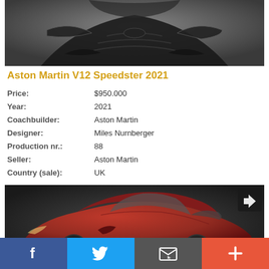[Figure (photo): Close-up front view of a black Aston Martin V12 Speedster 2021, showing the hood and grille from above at a dark grey background.]
Aston Martin V12 Speedster 2021
Price: $950.000
Year: 2021
Coachbuilder: Aston Martin
Designer: Miles Nurnberger
Production nr.: 88
Seller: Aston Martin
Country (sale): UK
[Figure (photo): Side profile view of a metallic red Aston Martin coupe on a dark background, with a share icon button in top right corner.]
Social sharing bar with Facebook, Twitter, Email, and Plus buttons